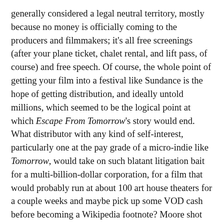generally considered a legal neutral territory, mostly because no money is officially coming to the producers and filmmakers; it's all free screenings (after your plane ticket, chalet rental, and lift pass, of course) and free speech. Of course, the whole point of getting your film into a festival like Sundance is the hope of getting distribution, and ideally untold millions, which seemed to be the logical point at which Escape From Tomorrow's story would end. What distributor with any kind of self-interest, particularly one at the pay grade of a micro-indie like Tomorrow, would take on such blatant litigation bait for a multi-billion-dollar corporation, for a film that would probably run at about 100 art house theaters for a couple weeks and maybe pick up some VOD cash before becoming a Wikipedia footnote? Moore shot his movie on the cheap, made a little noise, fueled the film blogs for a few days, and then took his newly boosted reputation back home to start writing his next film